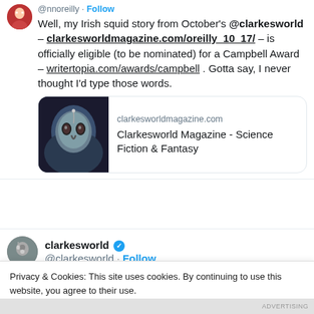@nnoreilly · Follow
Well, my Irish squid story from October's @clarkesworld – clarkesworldmagazine.com/oreilly_10_17/ – is officially eligible (to be nominated) for a Campbell Award – writertopia.com/awards/campbell . Gotta say, I never thought I'd type those words.
[Figure (screenshot): Link preview card for clarkesworldmagazine.com showing a dark fantasy face illustration and the text 'Clarkesworld Magazine - Science Fiction & Fantasy']
clarkesworld @clarkesworld · Follow
Privacy & Cookies: This site uses cookies. By continuing to use this website, you agree to their use.
To find out more, including how to control cookies, see here: Cookie Policy
Close and accept